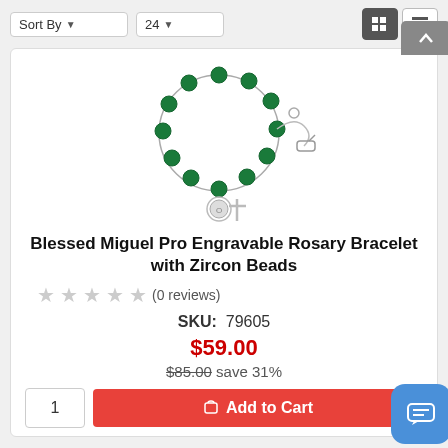[Figure (screenshot): Top navigation bar with Sort By dropdown, 24 per page dropdown, and grid/list view toggle buttons]
[Figure (photo): Rosary bracelet with green zircon beads, silver chain, cross and medallion charm]
Blessed Miguel Pro Engravable Rosary Bracelet with Zircon Beads
★★★★★ (0 reviews)
SKU:  79605
$59.00
$85.00 save 31%
1  Add to Cart